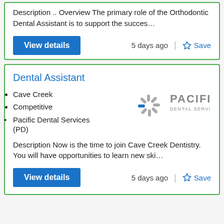Description .. Overview The primary role of the Orthodontic Dental Assistant is to support the succes…
View details
5 days ago
Save
Dental Assistant
Cave Creek
Competitive
Pacific Dental Services (PD)
[Figure (logo): Pacific Dental Services logo with sunburst icon and gray text]
Description Now is the time to join Cave Creek Dentistry. You will have opportunities to learn new ski…
View details
5 days ago
Save